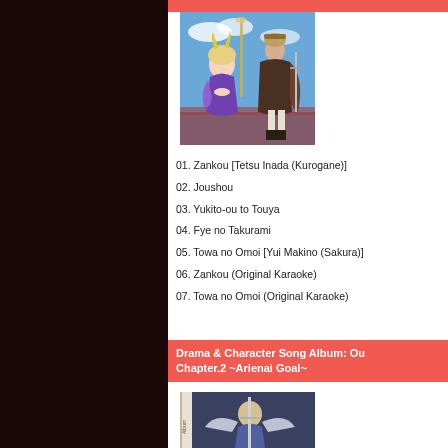Drama & Character Song Album: Ou... Chapter.2 ~Arienai Goal~
[Figure (illustration): Anime album artwork showing two characters: a small girl in purple dress with yellow horns and a tall man in military uniform with cape, against a blue sky with architectural structure.]
01. Zankou [Tetsu Inada (Kurogane)]
02. Joushou
03. Yukito-ou to Touya
04. Fye no Takurami
05. Towa no Omoi [Yui Makino (Sakura)]
06. Zankou (Original Karaoke)
07. Towa no Omoi (Original Karaoke)
Drama & Character Song Album: Ou Chapter.2 ~Arienai Goal~
[Figure (illustration): Partial view of another anime album artwork, showing a character with wings against a dark background with spine visible on left.]